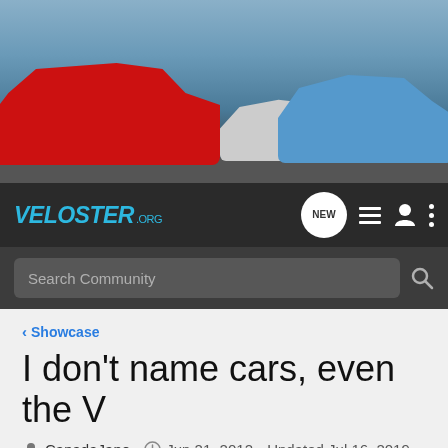[Figure (photo): Header banner showing three Hyundai Veloster cars on a road — a red one on the left, a white one in the center-back, and a blue one on the right, against a sky background.]
VELOSTER.org
Search Community
< Showcase
I don't name cars, even the V
CanadaJane · Jun 21, 2012 · Updated Jul 16, 2019
+ Follow